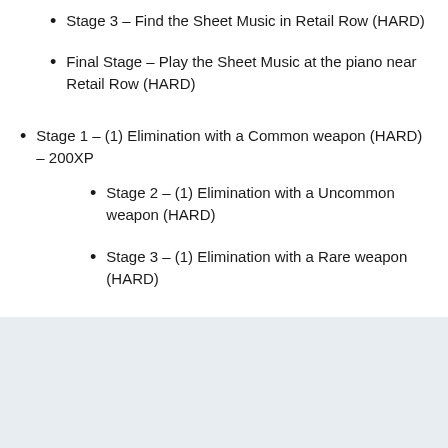Stage 3 – Find the Sheet Music in Retail Row (HARD)
Final Stage – Play the Sheet Music at the piano near Retail Row (HARD)
Stage 1 – (1) Elimination with a Common weapon (HARD) – 200XP
Stage 2 – (1) Elimination with a Uncommon weapon (HARD)
Stage 3 – (1) Elimination with a Rare weapon (HARD)